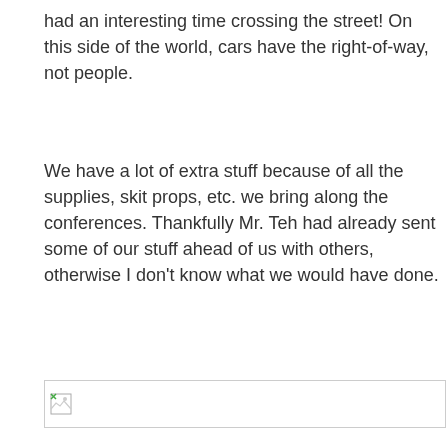had an interesting time crossing the street! On this side of the world, cars have the right-of-way, not people.
We have a lot of extra stuff because of all the supplies, skit props, etc. we bring along the conferences. Thankfully Mr. Teh had already sent some of our stuff ahead of us with others, otherwise I don't know what we would have done.
[Figure (photo): Broken/missing image placeholder with a small broken image icon in the top-left corner and a light grey border.]